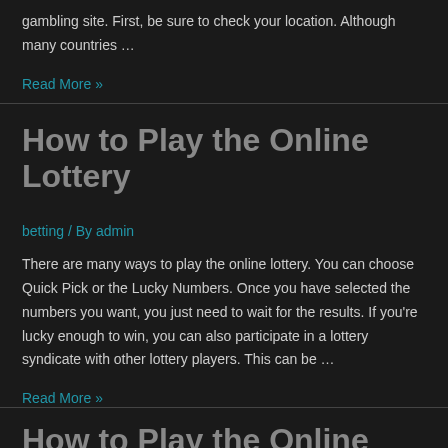gambling site. First, be sure to check your location. Although many countries …
Read More »
How to Play the Online Lottery
betting / By admin
There are many ways to play the online lottery. You can choose Quick Pick or the Lucky Numbers. Once you have selected the numbers you want, you just need to wait for the results. If you're lucky enough to win, you can also participate in a lottery syndicate with other lottery players. This can be …
Read More »
How to Play the Online Lottery